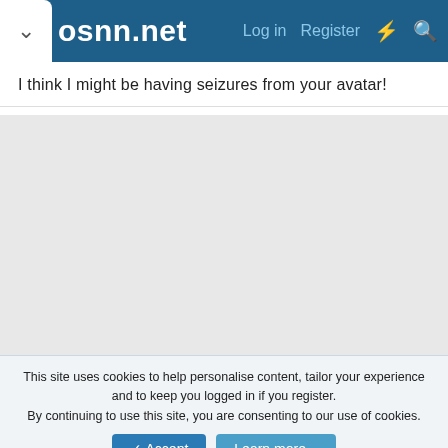osnn.net  Log in  Register
I think I might be having seizures from your avatar!
[Figure (other): Grey placeholder/advertisement area]
Alucard
Let the show begin...
This site uses cookies to help personalise content, tailor your experience and to keep you logged in if you register.
By continuing to use this site, you are consenting to our use of cookies.
✓ Accept   Learn more...